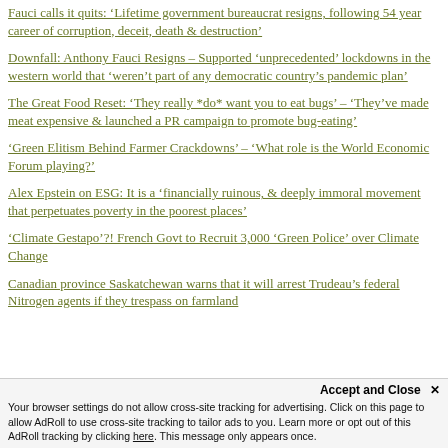Fauci calls it quits: ‘Lifetime government bureaucrat resigns, following 54 year career of corruption, deceit, death & destruction’
Downfall: Anthony Fauci Resigns – Supported ‘unprecedented’ lockdowns in the western world that ‘weren’t part of any democratic country’s pandemic plan’
The Great Food Reset: ‘They really *do* want you to eat bugs’ – ‘They’ve made meat expensive & launched a PR campaign to promote bug-eating’
‘Green Elitism Behind Farmer Crackdowns’ – ‘What role is the World Economic Forum playing?’
Alex Epstein on ESG: It is a ‘financially ruinous, & deeply immoral movement that perpetuates poverty in the poorest places’
‘Climate Gestapo’?! French Govt to Recruit 3,000 ‘Green Police’ over Climate Change
Canadian province Saskatchewan warns that it will arrest Trudeau’s federal Nitrogen agents if they trespass on farmland
Your browser settings do not allow cross-site tracking for advertising. Click on this page to allow AdRoll to use cross-site tracking to tailor ads to you. Learn more or opt out of this AdRoll tracking by clicking here. This message only appears once.